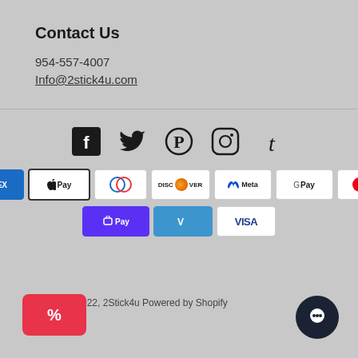Contact Us
954-557-4007
Info@2stick4u.com
[Figure (other): Social media icons row: Facebook, Twitter, Pinterest, Instagram, Tumblr]
[Figure (other): Payment method badges: Amazon Pay, American Express, Apple Pay, Diners Club, Discover, Meta Pay, Google Pay, Mastercard, PayPal, Shop Pay, Venmo, Visa]
© 2022, 2Stick4u Powered by Shopify
[Figure (other): Red discount percent button bottom left]
[Figure (other): Dark chat bubble button bottom right]